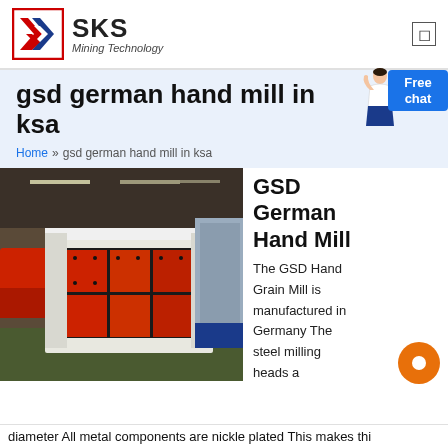[Figure (logo): SKS Mining Technology logo with geometric S-shaped icon in red and blue, and bold text 'SKS Mining Technology']
gsd german hand mill in ksa
Home » gsd german hand mill in ksa
[Figure (photo): Industrial mining machine (vibratory feeder or screen) with red painted metal body and bolted plates, inside a large industrial warehouse. Heavy machinery visible in background.]
GSD German Hand Mill
The GSD Hand Grain Mill is manufactured in Germany The steel milling heads a
diameter All metal components are nickle plated This makes thi